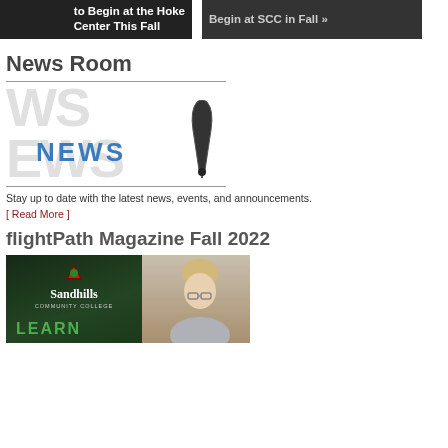to Begin at the Hoke Center This Fall
Begin at SCC in Fall »
News Room
[Figure (logo): WS EWS NEWS watermark logo with blue NEWS text and microphone/pen icon]
Stay up to date with the latest news, events, and announcements.
[ Read More ]
flightPath Magazine Fall 2022
[Figure (photo): flightPath Magazine Fall 2022 cover showing Sandhills Community College logo on dark green background with LEARN text, and a blonde woman with glasses on the right side]